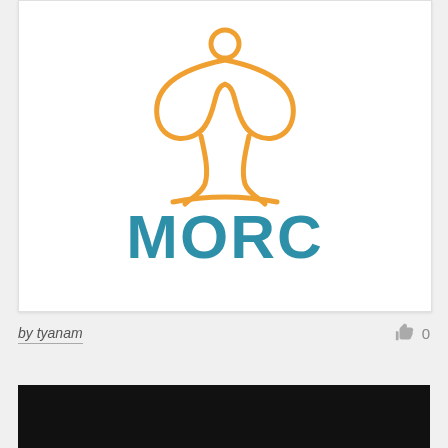[Figure (logo): MORC logo: an orange stylized meditating figure with infinity-knot body above the text MORC in bold teal/blue uppercase letters]
by tyanam
0
[Figure (photo): Black rectangle, bottom portion of a second card/image, mostly black]